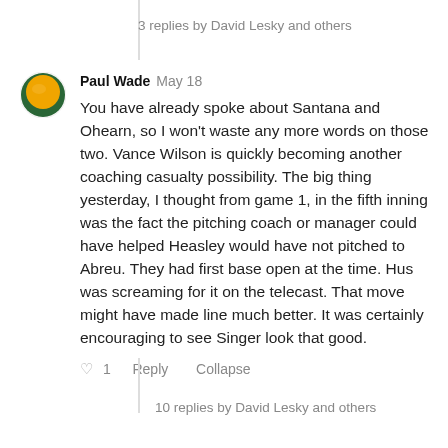3 replies by David Lesky and others
[Figure (illustration): User avatar for Paul Wade — circular icon with orange/yellow circle and dark green arc at bottom on white background]
Paul Wade   May 18
You have already spoke about Santana and Ohearn, so I won't waste any more words on those two. Vance Wilson is quickly becoming another coaching casualty possibility. The big thing yesterday, I thought from game 1, in the fifth inning was the fact the pitching coach or manager could have helped Heasley would have not pitched to Abreu. They had first base open at the time. Hus was screaming for it on the telecast. That move might have made line much better. It was certainly encouraging to see Singer look that good.
♡ 1   Reply   Collapse
10 replies by David Lesky and others